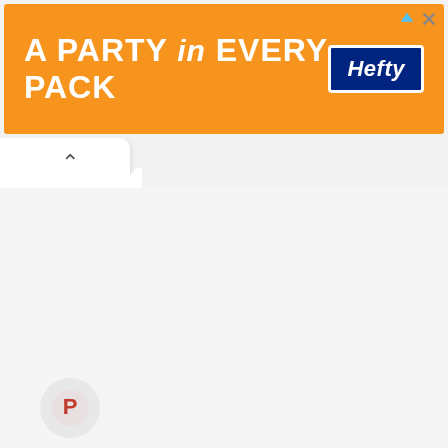[Figure (other): Orange Hefty advertisement banner reading 'A PARTY in EVERY PACK' with Hefty logo on right side]
[Figure (other): White tab/panel with up chevron arrow, partially visible at top-left below the ad banner]
[Figure (other): Pinterest circular button icon partially visible at bottom-left corner]